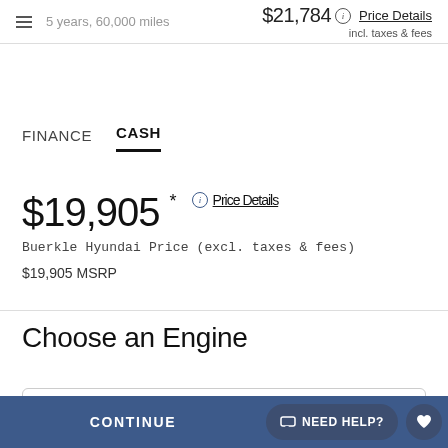5 years, 60,000 miles
$21,784 incl. taxes & fees Price Details
FINANCE
CASH
$19,905 * Price Details
Buerkle Hyundai Price (excl. taxes & fees)
$19,905 MSRP
Choose an Engine
2.0L 4 Cylinder
CONTINUE
NEED HELP?